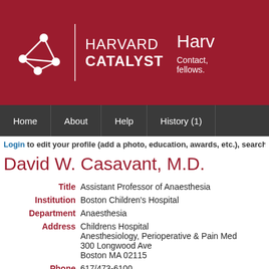[Figure (logo): Harvard Catalyst logo with network graph icon and text 'HARVARD CATALYST' on dark red background, with partial text 'Harv... Contact, fellows.' on the right]
[Figure (screenshot): Navigation bar with dark gray background containing menu items: Home, About, Help, History (1)]
Login to edit your profile (add a photo, education, awards, etc.), search s
David W. Casavant, M.D.
| Title | Assistant Professor of Anaesthesia |
| Institution | Boston Children's Hospital |
| Department | Anaesthesia |
| Address | Childrens Hospital
Anesthesiology, Perioperative & Pain Med
300 Longwood Ave
Boston MA 02115 |
| Phone | 617/473-6100 |